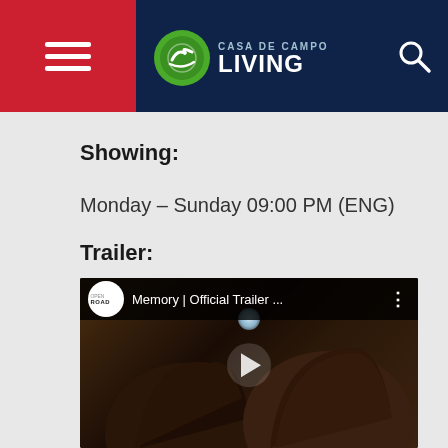Casa De Campo Living
Showing:
Monday – Sunday 09:00 PM (ENG)
Trailer:
[Figure (screenshot): YouTube video thumbnail for 'Memory | Official Trailer ...' by OPEN ROAD, showing two men facing each other in dim lighting with a play button overlay]